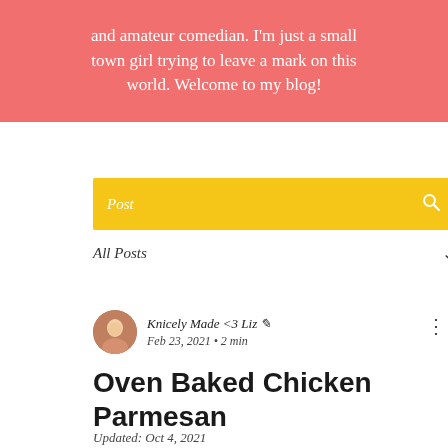and amateur comedian. I'm just a small town girl trying to leave a mark on this world. Welcome to my blog!
Post
All Posts
Knicely Made <3 Liz  Feb 23, 2021 · 2 min
Oven Baked Chicken Parmesan
Updated: Oct 4, 2021